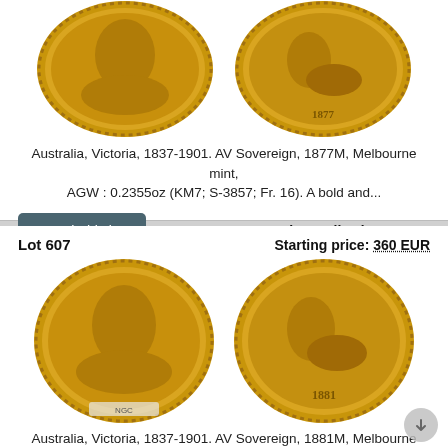[Figure (photo): Two gold coins showing obverse and reverse of Australia Victoria 1877M sovereign]
Australia, Victoria, 1837-1901. AV Sovereign, 1877M, Melbourne mint, AGW : 0.2355oz (KM7; S-3857; Fr. 16). A bold and...
Watch this lot
Price realized: 450 EUR
Lot 607
Starting price: 360 EUR
[Figure (photo): Two gold coins showing obverse and reverse of Australia Victoria 1881M sovereign]
Australia, Victoria, 1837-1901. AV Sovereign, 1881M, Melbourne mint, AGW: 0.2355oz (KM7; S-3857; Fr. 16). A bold...